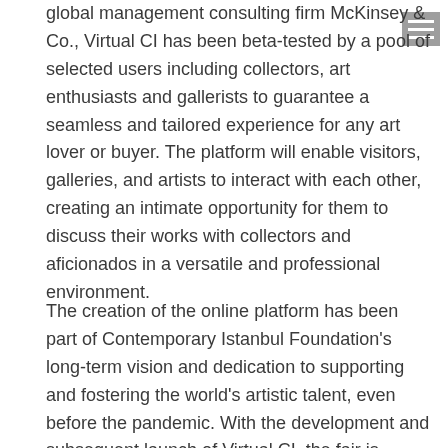global management consulting firm McKinsey & Co., Virtual CI has been beta-tested by a pool of selected users including collectors, art enthusiasts and gallerists to guarantee a seamless and tailored experience for any art lover or buyer. The platform will enable visitors, galleries, and artists to interact with each other, creating an intimate opportunity for them to discuss their works with collectors and aficionados in a versatile and professional environment.
The creation of the online platform has been part of Contemporary Istanbul Foundation's long-term vision and dedication to supporting and fostering the world's artistic talent, even before the pandemic. With the development and subsequent launch of Virtual CI, the fair is accessible across the world, providing an opportunity to share the very best of the region's extensive art market and collector base tying into the fair's broader theme of global communication and